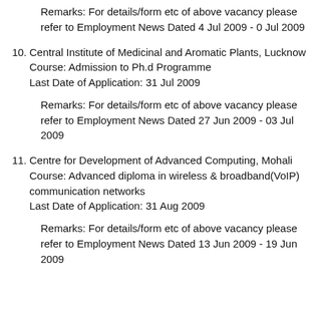Remarks: For details/form etc of above vacancy please refer to Employment News Dated 4 Jul 2009 - 0 Jul 2009
10. Central Institute of Medicinal and Aromatic Plants, Lucknow
Course: Admission to Ph.d Programme
Last Date of Application: 31 Jul 2009
Remarks: For details/form etc of above vacancy please refer to Employment News Dated 27 Jun 2009 - 03 Jul 2009
11. Centre for Development of Advanced Computing, Mohali
Course: Advanced diploma in wireless & broadband(VoIP) communication networks
Last Date of Application: 31 Aug 2009
Remarks: For details/form etc of above vacancy please refer to Employment News Dated 13 Jun 2009 - 19 Jun 2009